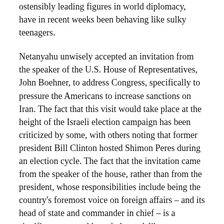ostensibly leading figures in world diplomacy, have in recent weeks been behaving like sulky teenagers.
Netanyahu unwisely accepted an invitation from the speaker of the U.S. House of Representatives, John Boehner, to address Congress, specifically to pressure the Americans to increase sanctions on Iran. The fact that this visit would take place at the height of the Israeli election campaign has been criticized by some, with others noting that former president Bill Clinton hosted Shimon Peres during an election cycle. The fact that the invitation came from the speaker of the house, rather than from the president, whose responsibilities include being the country's foremost voice on foreign affairs – and its head of state and commander in chief – is a significant protocol breech, but a deliberate one.
We are becoming almost inured to successive